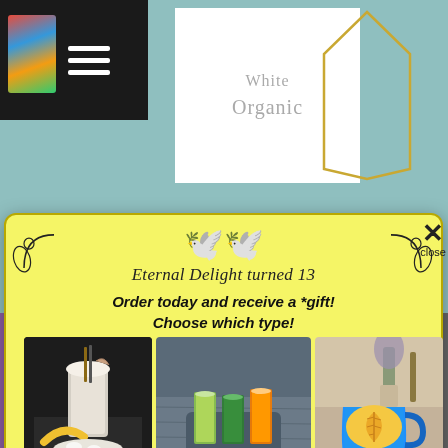[Figure (screenshot): Website background showing teal/mint green color with hamburger menu nav bar (black), a colorful book icon, and a white 'White Organic' branded card partially visible with gold frame lines]
[Figure (infographic): Popup modal with yellow background promoting 'Eternal Delight turned 13' anniversary offer. Contains decorative bird logo, three product photos (protein shake, juice shots, latte), promo codes PROTEIN, SHOT, LATTE, and pill-shaped note about randomly picked gift.]
Eternal Delight turned 13
Order today and receive a *gift! Choose which type!
Use Code> PROTEIN
Use Code> SHOT
Use Code> LATTE
*randomly picked when order is being processed
evia Leaf Extract – Organic Powder
$4.49  –  $299.99